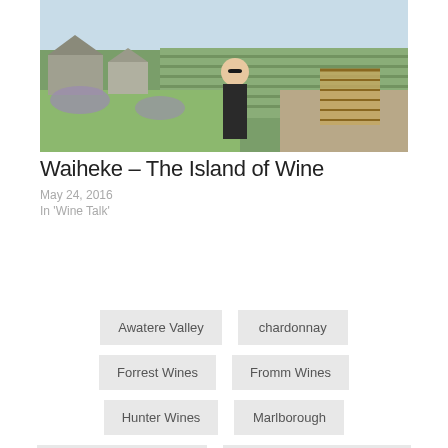[Figure (photo): A woman standing in front of a vineyard and rural buildings on a sunny day.]
Waiheke – The Island of Wine
May 24, 2016
In 'Wine Talk'
Awatere Valley
chardonnay
Forrest Wines
Fromm Wines
Hunter Wines
Marlborough
Nautilus Estates
Nautilus Marlborough Brut